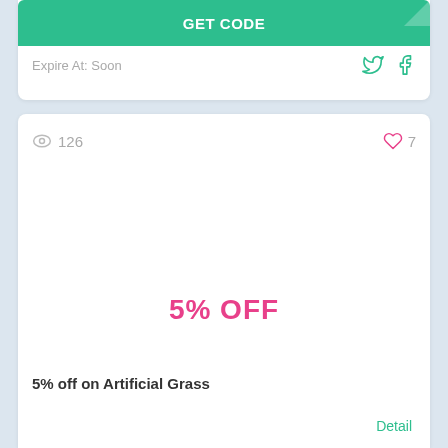GET CODE
Expire At: Soon
126
7
5% OFF
5% off on Artificial Grass
Detail